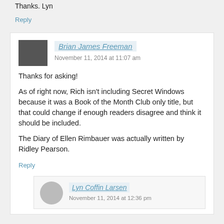Thanks. Lyn
Reply
Brian James Freeman
November 11, 2014 at 11:07 am
Thanks for asking!
As of right now, Rich isn't including Secret Windows because it was a Book of the Month Club only title, but that could change if enough readers disagree and think it should be included.
The Diary of Ellen Rimbauer was actually written by Ridley Pearson.
Reply
Lyn Coffin Larsen
November 11, 2014 at 12:36 pm